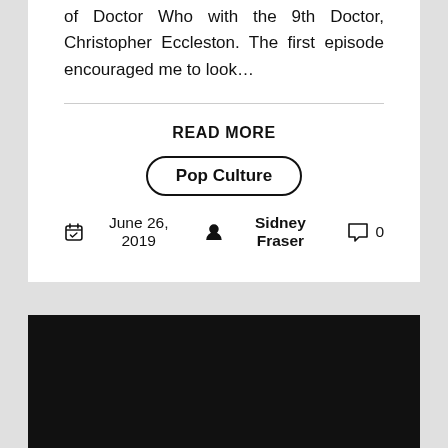of Doctor Who with the 9th Doctor, Christopher Eccleston. The first episode encouraged me to look…
READ MORE
Pop Culture
June 26, 2019   Sidney Fraser   0
[Figure (photo): Black rectangular panel at bottom of page]